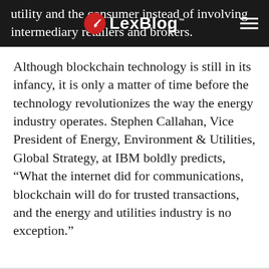LexBlog
utility and the consumer instead of involving intermediary retailers and brokers.
Although blockchain technology is still in its infancy, it is only a matter of time before the technology revolutionizes the way the energy industry operates. Stephen Callahan, Vice President of Energy, Environment & Utilities, Global Strategy, at IBM boldly predicts, “What the internet did for communications, blockchain will do for trusted transactions, and the energy and utilities industry is no exception.”